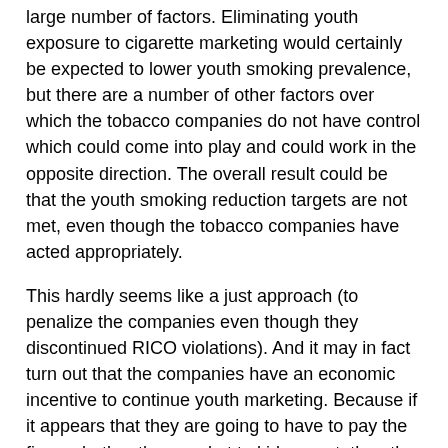large number of factors. Eliminating youth exposure to cigarette marketing would certainly be expected to lower youth smoking prevalence, but there are a number of other factors over which the tobacco companies do not have control which could come into play and could work in the opposite direction. The overall result could be that the youth smoking reduction targets are not met, even though the tobacco companies have acted appropriately.
This hardly seems like a just approach (to penalize the companies even though they discontinued RICO violations). And it may in fact turn out that the companies have an economic incentive to continue youth marketing. Because if it appears that they are going to have to pay the fines whether they market to kids or not, then the incentive is clearly for them to market to kids. They might as well reap the benefits of an increased customer base.
Now here's a second possible scenario. Let's assume that the American Legacy Foundation's efforts to secure funding for the continuation of the "truth" anti-smoking campaign are successful and that it is as effective as Legacy claims. A 22%...